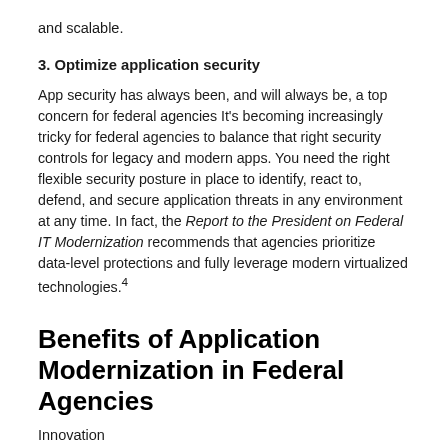and scalable.
3. Optimize application security
App security has always been, and will always be, a top concern for federal agencies It's becoming increasingly tricky for federal agencies to balance that right security controls for legacy and modern apps. You need the right flexible security posture in place to identify, react to, defend, and secure application threats in any environment at any time. In fact, the Report to the President on Federal IT Modernization recommends that agencies prioritize data-level protections and fully leverage modern virtualized technologies.4
Benefits of Application Modernization in Federal Agencies
Innovation